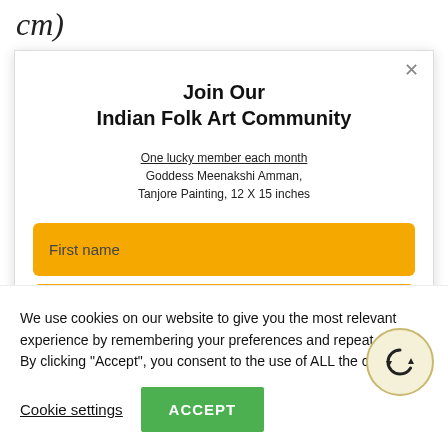cm)
Join Our
Indian Folk Art Community
One lucky member each month
Goddess Meenakshi Amman,
Tanjore Painting, 12 X 15 inches
First name
We use cookies on our website to give you the most relevant experience by remembering your preferences and repeat visits. By clicking “Accept”, you consent to the use of ALL the cookies.
Cookie settings
ACCEPT